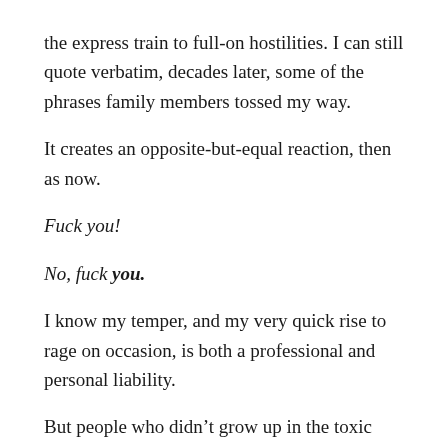the express train to full-on hostilities. I can still quote verbatim, decades later, some of the phrases family members tossed my way.
It creates an opposite-but-equal reaction, then as now.
Fuck you!
No, fuck you.
I know my temper, and my very quick rise to rage on occasion, is both a professional and personal liability.
But people who didn’t grow up in the toxic stew of anger have no idea. Emotional armor becomes normal,